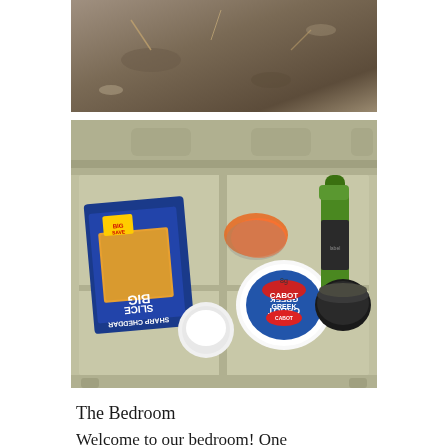[Figure (photo): Top portion of an outdoor photo showing ground/dirt/leaf litter visible through a partially cropped frame]
[Figure (photo): Top-down view of an open olive/tan colored plastic cooler containing food items: a package of Cabot Big Slice Sharp Cheddar cheese, a container of Cabot Greek yogurt, a bag of carrots, a green bottle, a dark jar, and other miscellaneous food items]
The Bedroom
Welcome to our bedroom! One thing I can say about this is it's